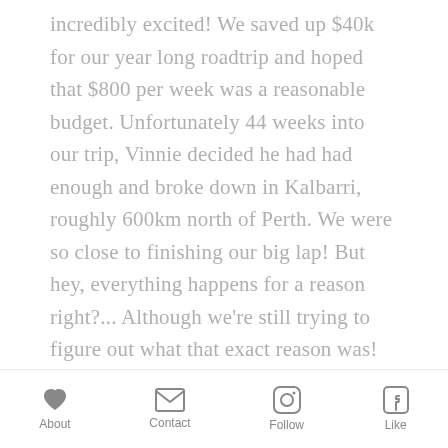incredibly excited! We saved up $40k for our year long roadtrip and hoped that $800 per week was a reasonable budget. Unfortunately 44 weeks into our trip, Vinnie decided he had had enough and broke down in Kalbarri, roughly 600km north of Perth. We were so close to finishing our big lap! But hey, everything happens for a reason right?... Although we're still trying to figure out what that exact reason was! So here's what we learnt from 44 weeks on the road in Australia!
About  Contact  Follow  Like